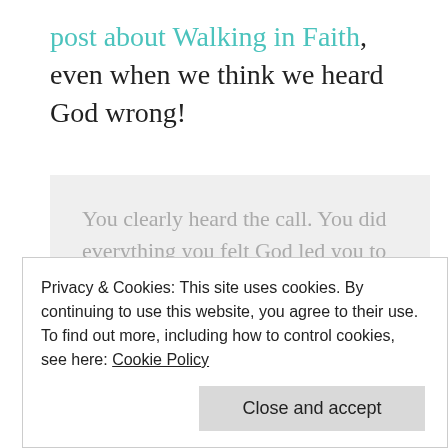post about Walking in Faith, even when we think we heard God wrong!
You clearly heard the call.  You did everything you felt God led you to do.  You prayed. You believed, and you walked in faith.  Then it all fell apart.  Life went from bad to worse.  It did not work.  You failed.  God failed you, after you did what you know is precisely what He asked you to do.
Privacy & Cookies: This site uses cookies. By continuing to use this website, you agree to their use.
To find out more, including how to control cookies, see here: Cookie Policy
Close and accept
through.  You are scared, and you are